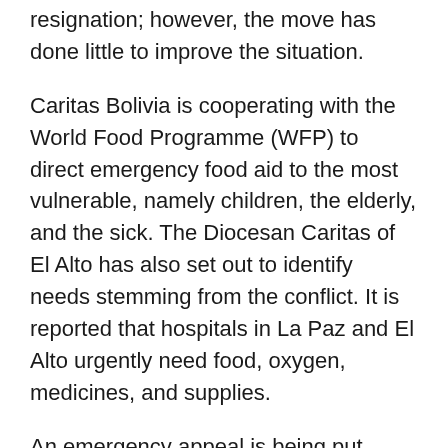resignation; however, the move has done little to improve the situation.
Caritas Bolivia is cooperating with the World Food Programme (WFP) to direct emergency food aid to the most vulnerable, namely children, the elderly, and the sick. The Diocesan Caritas of El Alto has also set out to identify needs stemming from the conflict. It is reported that hospitals in La Paz and El Alto urgently need food, oxygen, medicines, and supplies.
An emergency appeal is being put together in the coming days by Caritas Bolivia aimed at providing basic food, medicines, and medical and electrical supplies to those affected in La Paz and El Alto. Caritas United States (CRS), Caritas Spain, and other member organisations have expressed their willingness to assist once an appeal has been launched.